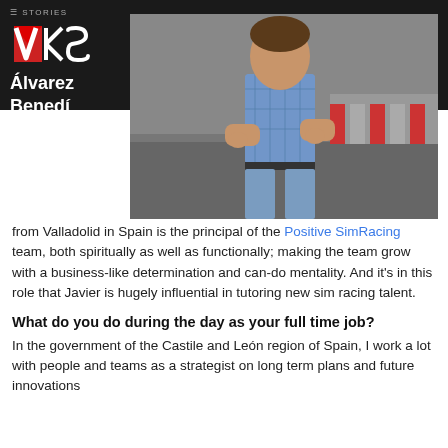Stories
[Figure (photo): VKS logo on dark header background with hamburger menu button]
[Figure (photo): Photo of Javier Álvarez Benedí standing with arms crossed at a racing circuit]
Javier Álvarez Benedí from Valladolid in Spain is the principal of the Positive SimRacing team, both spiritually as well as functionally; making the team grow with a business-like determination and can-do mentality. And it's in this role that Javier is hugely influential in tutoring new sim racing talent.
What do you do during the day as your full time job?
In the government of the Castile and León region of Spain, I work a lot with people and teams as a strategist on long term plans and future innovations